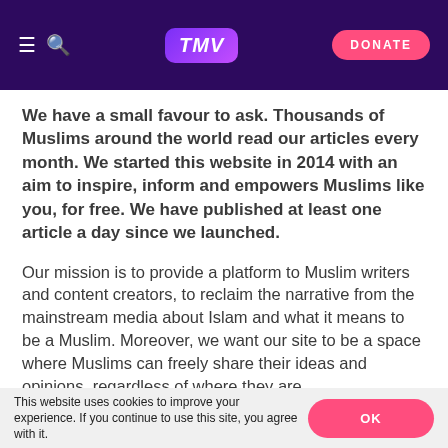TMV — DONATE
We have a small favour to ask. Thousands of Muslims around the world read our articles every month. We started this website in 2014 with an aim to inspire, inform and empowers Muslims like you, for free. We have published at least one article a day since we launched.
Our mission is to provide a platform to Muslim writers and content creators, to reclaim the narrative from the mainstream media about Islam and what it means to be a Muslim. Moreover, we want our site to be a space where Muslims can freely share their ideas and opinions, regardless of where they are
This website uses cookies to improve your experience. If you continue to use this site, you agree with it. OK